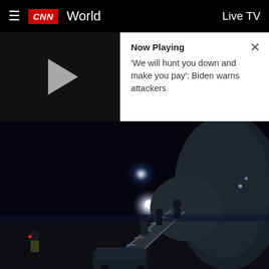CNN World   Live TV
Now Playing
'We will hunt you down and make you pay': Biden warns attackers
[Figure (screenshot): CNN website screenshot showing a video player strip with play button and 'Now Playing' panel, and below it a nighttime photograph of people boarding an aircraft via stairs, with a bright light on the tarmac in the background.]